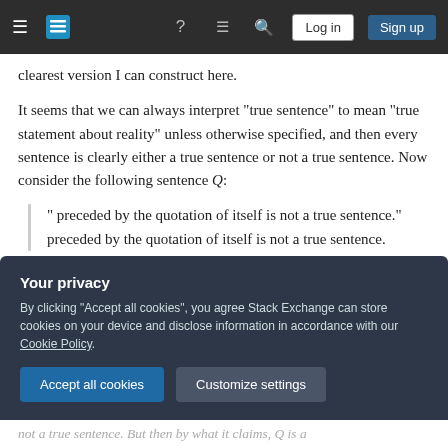Stack Exchange navigation bar with hamburger menu, logo, help, chat, search icons, Log in and Sign up buttons
clearest version I can construct here.
It seems that we can always interpret "true sentence" to mean "true statement about reality" unless otherwise specified, and then every sentence is clearly either a true sentence or not a true sentence. Now consider the following sentence Q:
" preceded by the quotation of itself is not a true sentence." preceded by the quotation of itself is not a true sentence.
Your privacy
By clicking "Accept all cookies", you agree Stack Exchange can store cookies on your device and disclose information in accordance with our Cookie Policy.
not a true sentence. But then by what it claims, Q is a